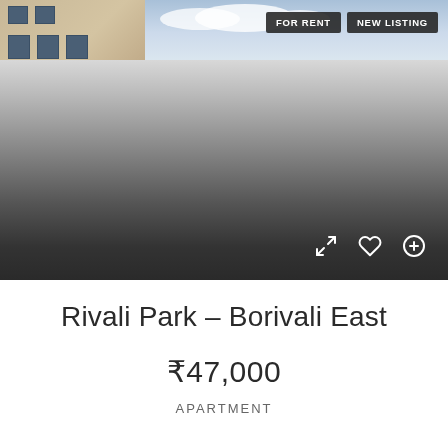[Figure (photo): Real estate listing card image showing a beige apartment building facade with windows against a partly cloudy sky, overlaid with a dark gradient at bottom. Tags 'FOR RENT' and 'NEW LISTING' appear in upper right. Bottom of image shows icons for expand, favorite (heart), and add (plus).]
Rivali Park – Borivali East
₹47,000
APARTMENT